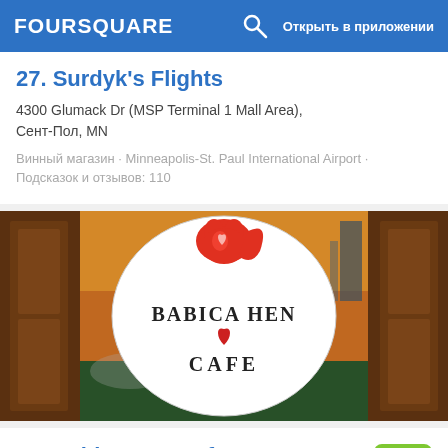FOURSQUARE  Открыть в приложении
27. Surdyk's Flights
4300 Glumack Dr (MSP Terminal 1 Mall Area), Сент-Пол, MN
Винный магазин · Minneapolis-St. Paul International Airport · Подсказок и отзывов: 110
[Figure (photo): Photo of Babica Hen Cafe sign — oval white sign with red squirrel logo and text BABICA HEN CAFE with a heart, seen through glass doors with warm sunset background]
28. Babica Hen Cafe Dundee
1410 N Highway 99W, Dundee, OR